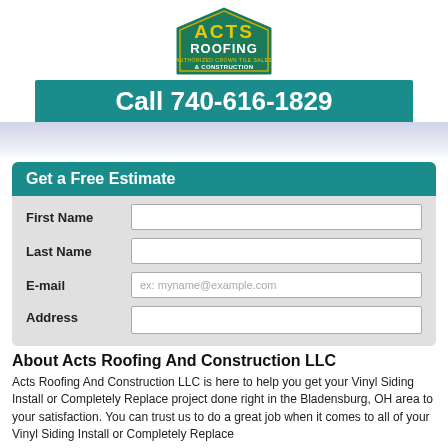[Figure (logo): ACTS Roofing & Construction logo — green roof-shaped badge with yellow text]
Call 740-616-1829
Get a Free Estimate
First Name | Last Name | E-mail (ex: myname@example.com) | Address — form fields
About Acts Roofing And Construction LLC
Acts Roofing And Construction LLC is here to help you get your Vinyl Siding Install or Completely Replace project done right in the Bladensburg, OH area to your satisfaction. You can trust us to do a great job when it comes to all of your Vinyl Siding Install or Completely Replace